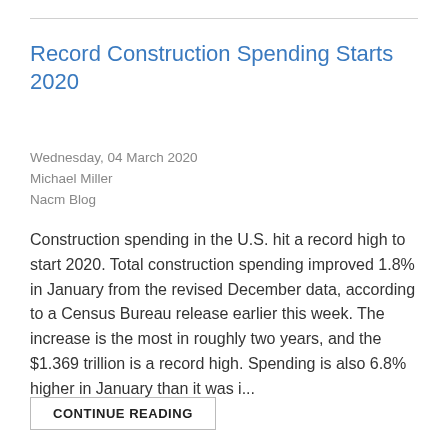Record Construction Spending Starts 2020
Wednesday, 04 March 2020
Michael Miller
Nacm Blog
Construction spending in the U.S. hit a record high to start 2020. Total construction spending improved 1.8% in January from the revised December data, according to a Census Bureau release earlier this week. The increase is the most in roughly two years, and the $1.369 trillion is a record high. Spending is also 6.8% higher in January than it was i...
CONTINUE READING